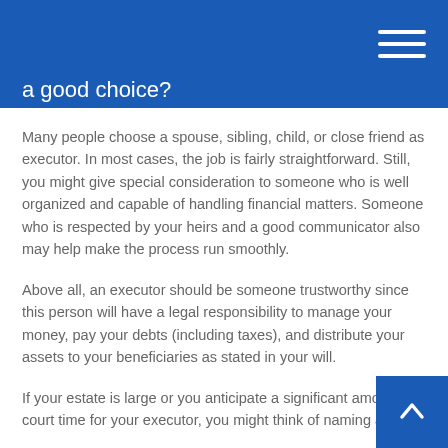a good choice?
Many people choose a spouse, sibling, child, or close friend as executor. In most cases, the job is fairly straightforward. Still, you might give special consideration to someone who is well organized and capable of handling financial matters. Someone who is respected by your heirs and a good communicator also may help make the process run smoothly.
Above all, an executor should be someone trustworthy since this person will have a legal responsibility to manage your money, pay your debts (including taxes), and distribute your assets to your beneficiaries as stated in your will.
If your estate is large or you anticipate a significant amount of court time for your executor, you might think of naming a